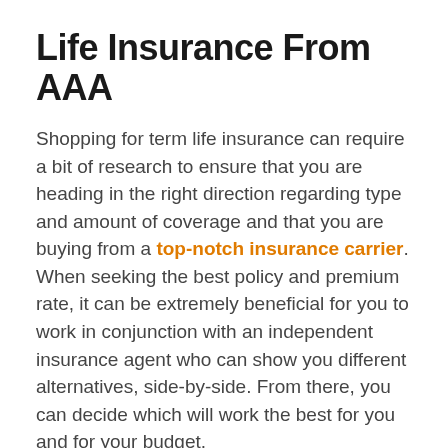Life Insurance From AAA
Shopping for term life insurance can require a bit of research to ensure that you are heading in the right direction regarding type and amount of coverage and that you are buying from a top-notch insurance carrier. When seeking the best policy and premium rate, it can be extremely beneficial for you to work in conjunction with an independent insurance agent who can show you different alternatives, side-by-side. From there, you can decide which will work the best for you and for your budget. If you are ready to take a look at the life insurance coverage and premium that you may be eligible for, we can help. We are an